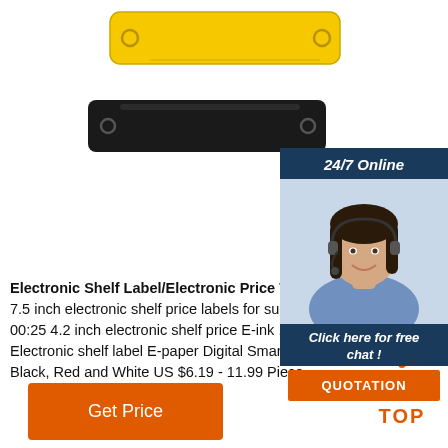[Figure (photo): Yellow and black RFID electronic shelf label tags shown horizontally, yellow on top, black below]
[Figure (photo): 24/7 online chat widget with female customer service agent wearing headset, with Quotation button]
Electronic Shelf Label/Electronic Price Tag/Epaper D 7.5 inch electronic shelf price labels for supermarke 69.99 Piece 00:25 4.2 inch electronic shelf price E-ink ... ESL 2.13 inch retail Electronic shelf label E-paper Digital Smart Price Tag 3 Colors, Black, Red and White US $6.19 - 11.99 Piece ...
[Figure (illustration): TOP button/scroll-to-top icon with orange dots and text]
Get Price